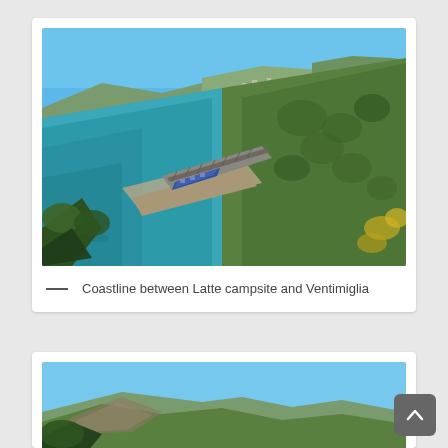[Figure (photo): Aerial view of the Mediterranean coastline between Latte campsite and Ventimiglia, showing turquoise sea on the left, a rocky beach with a railway track running along it, a blue train on the tracks, and green tree-covered hills on the right with buildings visible in the distance.]
— Coastline between Latte campsite and Ventimiglia
[Figure (photo): Partial view of a coastal landscape with blue sky and rocky hillside, partially visible at the bottom of the page.]